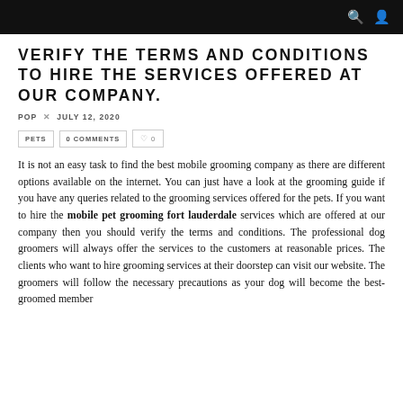Navigation bar with search and user icons
VERIFY THE TERMS AND CONDITIONS TO HIRE THE SERVICES OFFERED AT OUR COMPANY.
POP × JULY 12, 2020
PETS   0 COMMENTS   ♡ 0
It is not an easy task to find the best mobile grooming company as there are different options available on the internet. You can just have a look at the grooming guide if you have any queries related to the grooming services offered for the pets. If you want to hire the mobile pet grooming fort lauderdale services which are offered at our company then you should verify the terms and conditions. The professional dog groomers will always offer the services to the customers at reasonable prices. The clients who want to hire grooming services at their doorstep can visit our website. The groomers will follow the necessary precautions as your dog will become the best-groomed member